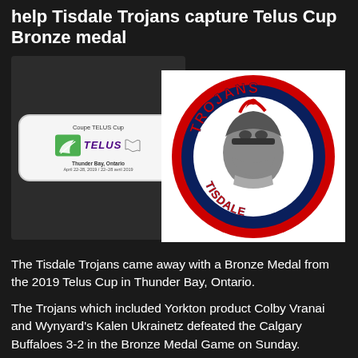help Tisdale Trojans capture Telus Cup Bronze medal
[Figure (illustration): Two images side by side: Left image shows the Coupe TELUS Cup puck/logo badge with TELUS branding, Thunder Bay Ontario, April 22-28, 2019. Right image shows the Tisdale Trojans hockey team logo with a Trojan helmet in a circular red-navy-white design.]
The Tisdale Trojans came away with a Bronze Medal from the 2019 Telus Cup in Thunder Bay, Ontario.
The Trojans which included Yorkton product Colby Vranai and Wynyard's Kalen Ukrainetz defeated the Calgary Buffaloes 3-2 in the Bronze Medal Game on Sunday.
Vranai recorded 4 Goals during the Tournament and...